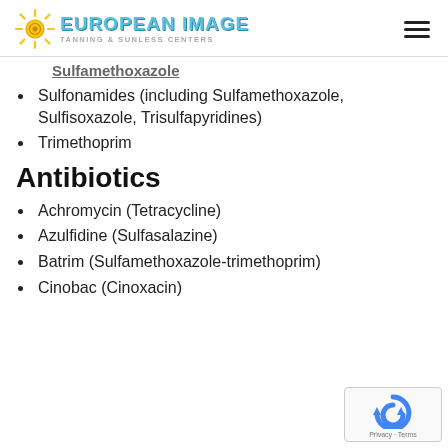European Image Tanning & Sunless Centers
Sulfamethoxazole (partial, cut off at top)
Sulfonamides (including Sulfamethoxazole, Sulfisoxazole, Trisulfapyridines)
Trimethoprim
Antibiotics
Achromycin (Tetracycline)
Azulfidine (Sulfasalazine)
Batrim (Sulfamethoxazole-trimethoprim)
Cinobac (Cinoxacin)